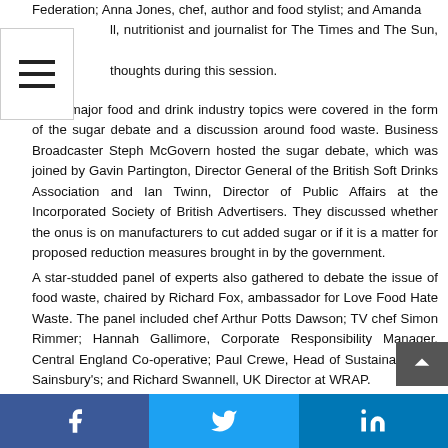Federation; Anna Jones, chef, author and food stylist; and Amanda [Ursell], nutritionist and journalist for The Times and The Sun, gave [their] thoughts during this session.
Other major food and drink industry topics were covered in the form of the sugar debate and a discussion around food waste. Business Broadcaster Steph McGovern hosted the sugar debate, which was joined by Gavin Partington, Director General of the British Soft Drinks Association and Ian Twinn, Director of Public Affairs at the Incorporated Society of British Advertisers. They discussed whether the onus is on manufacturers to cut added sugar or if it is a matter for proposed reduction measures brought in by the government.
A star-studded panel of experts also gathered to debate the issue of food waste, chaired by Richard Fox, ambassador for Love Food Hate Waste. The panel included chef Arthur Potts Dawson; TV chef Simon Rimmer; Hannah Gallimore, Corporate Responsibility Manager, Central England Co-operative; Paul Crewe, Head of Sustainability at Sainsbury's; and Richard Swannell, UK Director at WRAP.
Visiting the event, Bret Rogers, New Product Development at the Village Bakery, said: "There are lots of exciting brands at the show...
f  [Twitter bird]  in